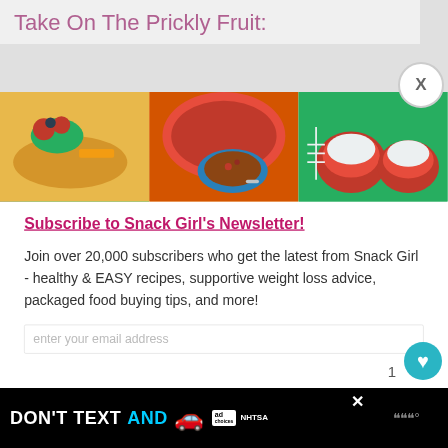Take On The Prickly Fruit:
[Figure (photo): Three food photos side by side: waffles with strawberries and blueberries on green plate, orange pot with chili bowl, stuffed red peppers on green plate]
Subscribe to Snack Girl’s Newsletter!
Join over 20,000 subscribers who get the latest from Snack Girl - healthy & EASY recipes, supportive weight loss advice, packaged food buying tips, and more!
enter your email address
[Figure (screenshot): Advertisement banner: DON'T TEXT AND [car emoji] with ad badge and NHTSA logo]